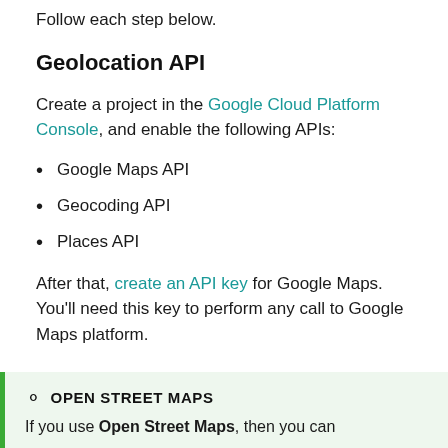Follow each step below.
Geolocation API
Create a project in the Google Cloud Platform Console, and enable the following APIs:
Google Maps API
Geocoding API
Places API
After that, create an API key for Google Maps. You'll need this key to perform any call to Google Maps platform.
OPEN STREET MAPS — If you use Open Street Maps, then you can